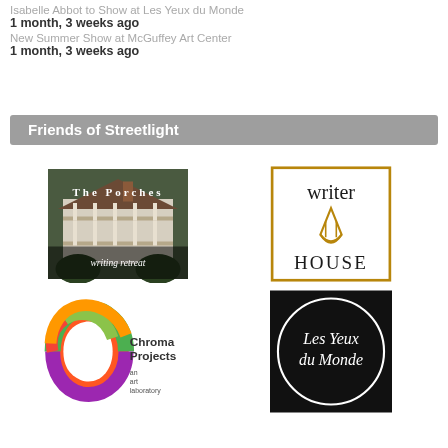Isabelle Abbot to Show at Les Yeux du Monde
1 month, 3 weeks ago
New Summer Show at McGuffey Art Center
1 month, 3 weeks ago
Friends of Streetlight
[Figure (logo): The Porches writing retreat logo — photo of a white house with porches, text overlay]
[Figure (logo): Writer House logo — black text with gold decorative arch/pen icon, bordered box]
[Figure (logo): Chroma Projects an art laboratory — colorful C-shaped swash logo]
[Figure (logo): Les Yeux du Monde — white circle on black background with serif text]